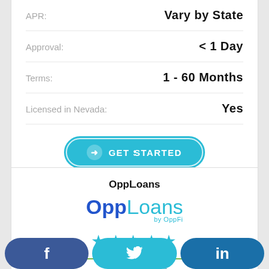APR: Vary by State
Approval: < 1 Day
Terms: 1 - 60 Months
Licensed in Nevada: Yes
GET STARTED
OppLoans
[Figure (logo): OppLoans by OppFi logo — bold blue 'Opp' and lighter blue 'Loans' with 'by OppFi' subtitle]
★★★★★ (5 stars)
Apply Now 🔒